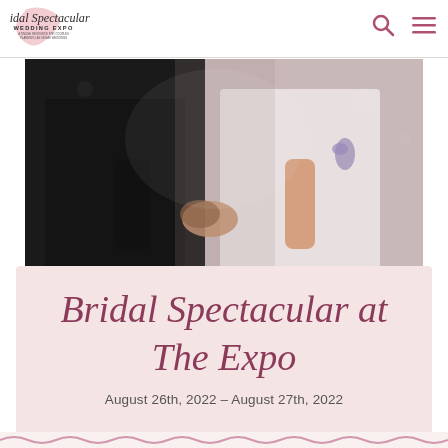Bridal Spectacular Wedding Expo — A online resource for couples planning Las Vegas weddings
[Figure (photo): Close-up photo of a couple holding hands — groom in black suit on the left, bride in white dress on the right, outdoors with blurred background]
Bridal Spectacular at The Expo
August 26th, 2022 – August 27th, 2022